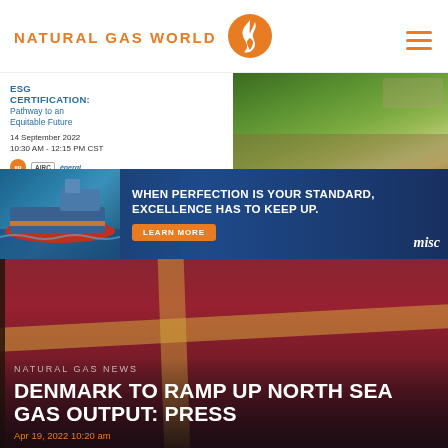NATURAL GAS WORLD
[Figure (logo): Natural Gas World logo with orange flame icon]
[Figure (infographic): ESG Certification: Pathway to an Equitable Future webinar banner - 14 September 2022, 10:30 AM - 12:15 PM CST]
[Figure (infographic): MSC advertisement: When perfection is your standard, excellence has to keep up. Learn More button.]
NATURAL GAS NEWS
DENMARK TO RAMP UP NORTH SEA GAS OUTPUT: PRESS
Apr 19, 2022 10:20 am